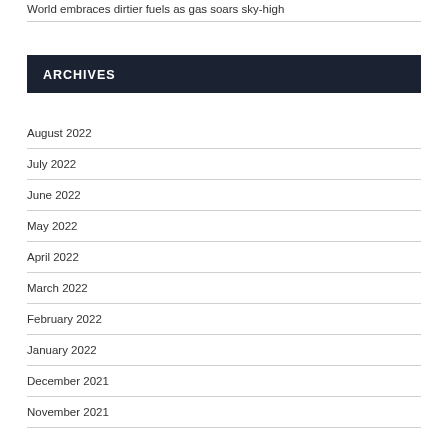World embraces dirtier fuels as gas soars sky-high
ARCHIVES
August 2022
July 2022
June 2022
May 2022
April 2022
March 2022
February 2022
January 2022
December 2021
November 2021